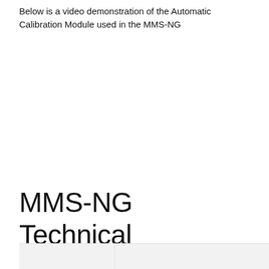Below is a video demonstration of the Automatic Calibration Module used in the MMS-NG
[Figure (other): Video demonstration placeholder area for the Automatic Calibration Module used in the MMS-NG]
MMS-NG Technical Specifications